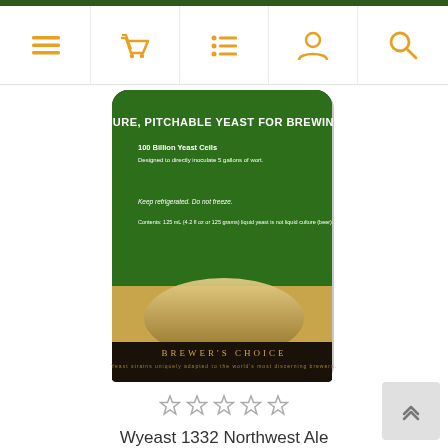Navigation bar with menu, basket, list, account, search icons
[Figure (photo): Wyeast 1332 Northwest Ale yeast product package label — green background top with text 'PURE, PITCHABLE YEAST FOR BREWING', '100 Billion Yeast Cells', mountain landscape in tan/brown tones, 'BREWER'S CHOICE' text at bottom]
☆☆☆☆☆
Wyeast 1332 Northwest Ale
$16.25
Limited stock